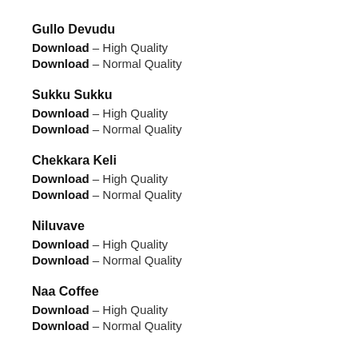Gullo Devudu
Download – High Quality
Download – Normal Quality
Sukku Sukku
Download – High Quality
Download – Normal Quality
Chekkara Keli
Download – High Quality
Download – Normal Quality
Niluvave
Download – High Quality
Download – Normal Quality
Naa Coffee
Download – High Quality
Download – Normal Quality